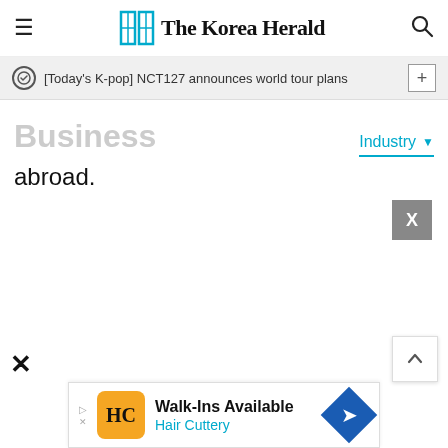The Korea Herald
[Today's K-pop] NCT127 announces world tour plans
Business
Industry
abroad.
[Figure (screenshot): Close X button overlay]
[Figure (screenshot): Close X button bottom left]
[Figure (screenshot): Scroll to top button]
[Figure (screenshot): Hair Cuttery advertisement banner at bottom: Walk-Ins Available, Hair Cuttery]